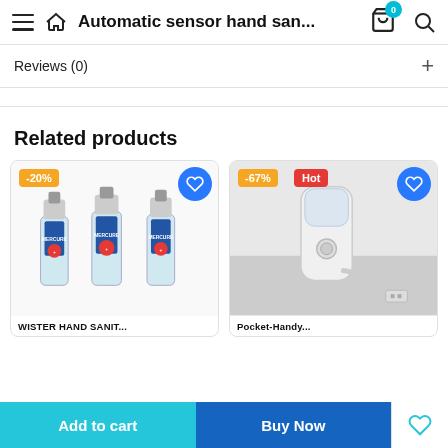Automatic sensor hand san...
Reviews (0)
Related products
[Figure (photo): Three spray bottles of hand sanitizer with -20% discount badge and heart button]
WISTER HAND SANIT...
[Figure (photo): White handheld nano misting device with USB cable, -67% discount badge, Hot badge, and heart button]
Pocket-handy...